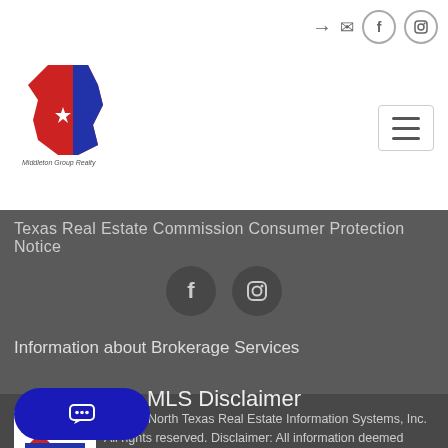Middleton Group Realty - navigation header with logo and icons
Texas Real Estate Commission Consumer Protection Notice
[Figure (infographic): Facebook and Instagram social media icons in dark circular buttons]
Information about Brokerage Services
MLS Disclaimer
[Figure (logo): NTREIS - North Texas Real Estate Information Systems logo]
© 2022 North Texas Real Estate Information Systems, Inc. All rights reserved. Disclaimer: All information deemed reliable but not guaranteed and should be independently verified. All properties are subject to prior sale, change or withdrawal.